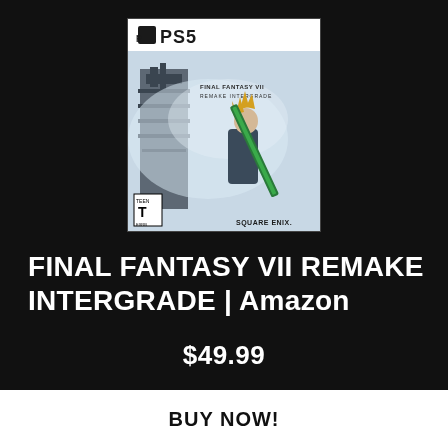[Figure (photo): PS5 game box art for Final Fantasy VII Remake Intergrade, showing Cloud Strife holding a large sword with a futuristic tower in the background. Published by Square Enix. Rated T for Teen.]
FINAL FANTASY VII REMAKE INTERGRADE | Amazon
$49.99
BUY NOW!